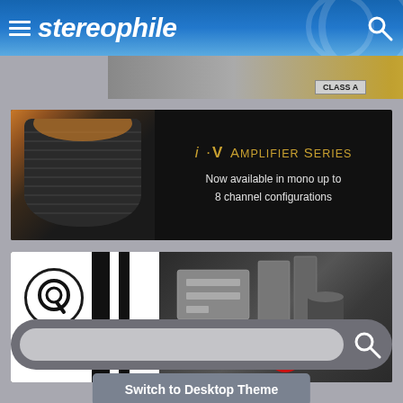stereophile
[Figure (screenshot): Partial top advertisement banner showing CLASS A badge]
[Figure (screenshot): i·V Amplifier Series advertisement - Now available in mono up to 8 channel configurations]
[Figure (screenshot): QRT and Nordost advertisement banner showing audio equipment]
[Figure (screenshot): Search box with input field and search icon button]
Switch to Desktop Theme